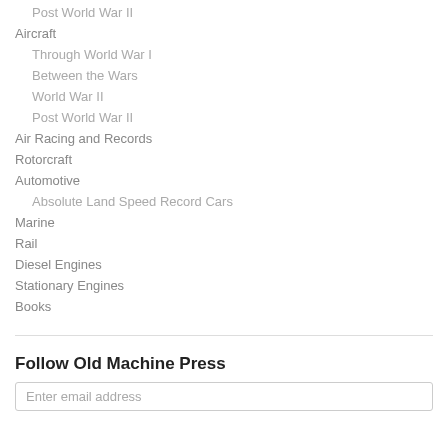Post World War II
Aircraft
Through World War I
Between the Wars
World War II
Post World War II
Air Racing and Records
Rotorcraft
Automotive
Absolute Land Speed Record Cars
Marine
Rail
Diesel Engines
Stationary Engines
Books
Follow Old Machine Press
Enter email address